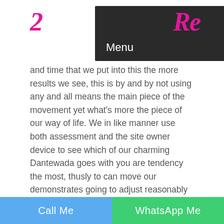[Figure (logo): Website logo with pink cursive text on left and right sides, dark navigation bar with Menu text and hamburger icon]
and time that we put into this the more results we see, this is by and by not using any and all means the main piece of the movement yet what's more the piece of our way of life. We in like manner use both assessment and the site owner device to see which of our charming Dantewada goes with you are tendency the most, thusly to can move our demonstrates going to adjust reasonably for you to locate the top women. You will discover us on Tweets – there is furthermore a Tweets support on this site, we are similarly on Instagram and Facebook or Myspace, Hopefully, you like what you investigate yet I in like manner wish satisfactory time that you may contribute with one of our appealing and magnificent escort girls.
Call Me   WhatsApp Me